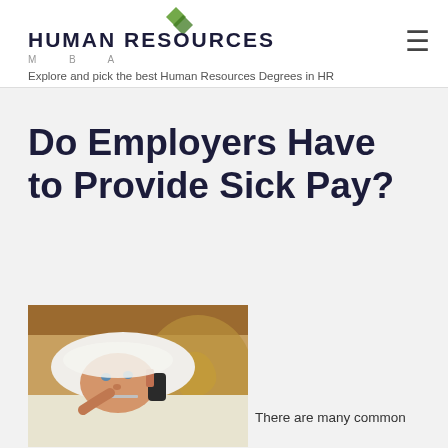HUMAN RESOURCES MBA — Explore and pick the best Human Resources Degrees in HR
Do Employers Have to Provide Sick Pay?
[Figure (photo): A sick man lying in bed with a white cloth on his head, talking on a phone and holding a thermometer in his mouth]
There are many common